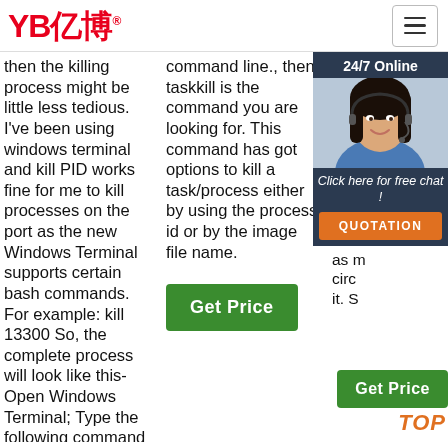YB亿博®
then the killing process might be little less tedious. I've been using windows terminal and kill PID works fine for me to kill processes on the port as the new Windows Terminal supports certain bash commands. For example: kill 13300 So, the complete process will look like this- Open Windows Terminal; Type the following command to show processes running ...
command line., then taskkill is the command you are looking for. This command has got options to kill a task/process either by using the process id or by the image file name.
[Figure (other): Get Price green button]
same as that in the wel... pur... bro... spe... pre... sur... con... be m... loss... as m... circ... it. S...
[Figure (infographic): 24/7 Online chat widget with woman in headset photo, 'Click here for free chat!' text, and QUOTATION orange button]
[Figure (other): Get Price green button with TOP label and orange dots]